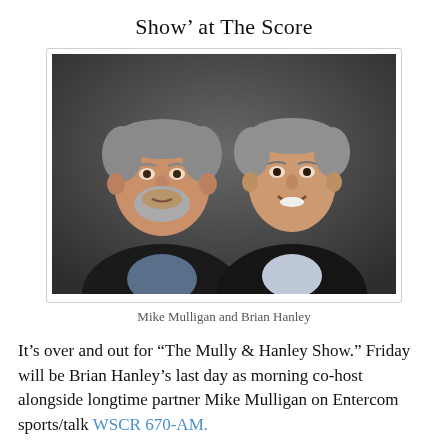Show’ at The Score
[Figure (photo): Professional headshot photograph of two men in suits: Mike Mulligan (left, heavier set with grey beard) and Brian Hanley (right, leaner, smiling), against a dark grey background.]
Mike Mulligan and Brian Hanley
It’s over and out for “The Mully & Hanley Show.” Friday will be Brian Hanley’s last day as morning co-host alongside longtime partner Mike Mulligan on Entercom sports/talk WSCR 670-AM.